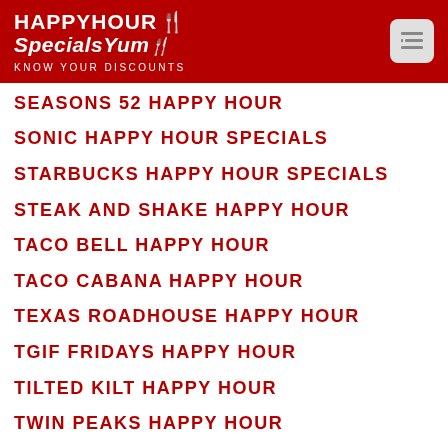HAPPYHOUR SpecialsYum KNOW YOUR DISCOUNTS
SEASONS 52 HAPPY HOUR
SONIC HAPPY HOUR SPECIALS
STARBUCKS HAPPY HOUR SPECIALS
STEAK AND SHAKE HAPPY HOUR
TACO BELL HAPPY HOUR
TACO CABANA HAPPY HOUR
TEXAS ROADHOUSE HAPPY HOUR
TGIF FRIDAYS HAPPY HOUR
TILTED KILT HAPPY HOUR
TWIN PEAKS HAPPY HOUR